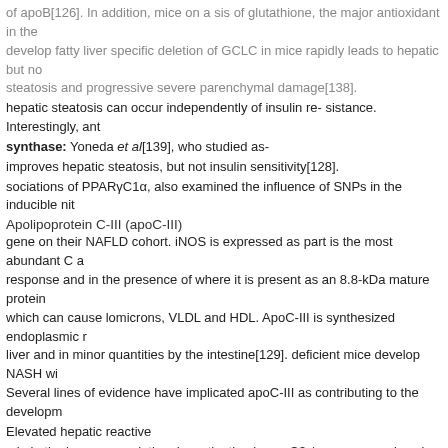of apoB[126]. In addition, mice on a sis of glutathione, the major antioxidant in the develop fatty liver specific deletion of GCLC in mice rapidly leads to hepatic but no steatosis and progressive severe parenchymal damage[138].
hepatic steatosis can occur independently of insulin re- sistance. Interestingly, ant
synthase: Yoneda et al[139], who studied as-
improves hepatic steatosis, but not insulin sensitivity[128].
sociations of PPARγC1α, also examined the influence of SNPs in the inducible nit
Apolipoprotein C-III (apoC-III)
gene on their NAFLD cohort. iNOS is expressed as part is the most abundant C a response and in the presence of where it is present as an 8.8-kDa mature protein which can cause lomicrons, VLDL and HDL. ApoC-III is synthesized endoplasmic r liver and in minor quantities by the intestine[129]. deficient mice develop NASH wi Several lines of evidence have implicated apoC-III as contributing to the developm
Elevated hepatic reactive
mia in the human population. Investigation in apoC3-/- oxygen species play an im concept that apoC-III is an effective liver diseases, such as alcohol-induced liver i reveals a potential titis C virus infection, and nonalcoholic steatohepatitis. regulati Satoshi et al[142] observed significant increases in lipid uptake of cholesteryl este peroxidation and TG in the liver of Sod1 KO and double KO mice but not in the live
resistance/sensitivity
IRS 1: Studies on mice with targeted disruption of the
Genes affecting immune regulation
Irs genes lend some support to both situations. Irs1 Signal transducer and activ